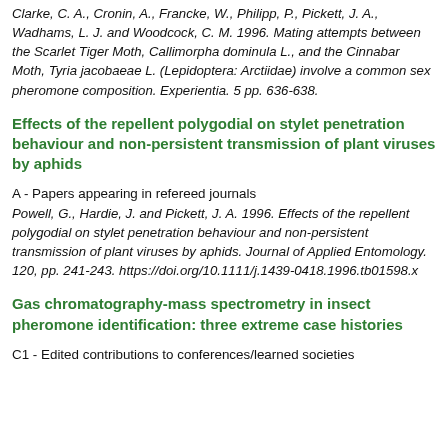Clarke, C. A., Cronin, A., Francke, W., Philipp, P., Pickett, J. A., Wadhams, L. J. and Woodcock, C. M. 1996. Mating attempts between the Scarlet Tiger Moth, Callimorpha dominula L., and the Cinnabar Moth, Tyria jacobaeae L. (Lepidoptera: Arctiidae) involve a common sex pheromone composition. Experientia. 5 pp. 636-638.
Effects of the repellent polygodial on stylet penetration behaviour and non-persistent transmission of plant viruses by aphids
A - Papers appearing in refereed journals
Powell, G., Hardie, J. and Pickett, J. A. 1996. Effects of the repellent polygodial on stylet penetration behaviour and non-persistent transmission of plant viruses by aphids. Journal of Applied Entomology. 120, pp. 241-243. https://doi.org/10.1111/j.1439-0418.1996.tb01598.x
Gas chromatography-mass spectrometry in insect pheromone identification: three extreme case histories
C1 - Edited contributions to conferences/learned societies